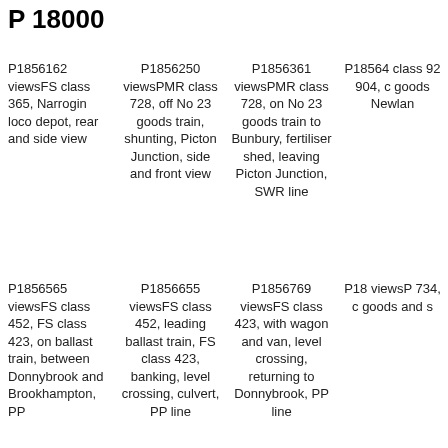P 18000
P1856162 viewsFS class 365, Narrogin loco depot, rear and side view
P1856250 viewsPMR class 728, off No 23 goods train, shunting, Picton Junction, side and front view
P1856361 viewsPMR class 728, on No 23 goods train to Bunbury, fertiliser shed, leaving Picton Junction, SWR line
P18564 class 92 904, c goods Newlan
P1856565 viewsFS class 452, FS class 423, on ballast train, between Donnybrook and Brookhampton, PP
P1856655 viewsFS class 452, leading ballast train, FS class 423, banking, level crossing, culvert, PP line
P1856769 viewsFS class 423, with wagon and van, level crossing, returning to Donnybrook, PP line
P18 viewsP 734, c goods and s